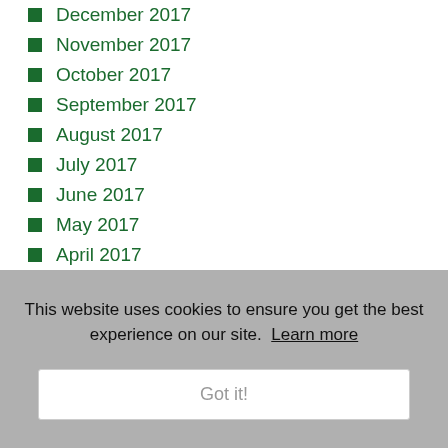December 2017
November 2017
October 2017
September 2017
August 2017
July 2017
June 2017
May 2017
April 2017
March 2017
January 2017
Topics
This website uses cookies to ensure you get the best experience on our site. Learn more
Got it!